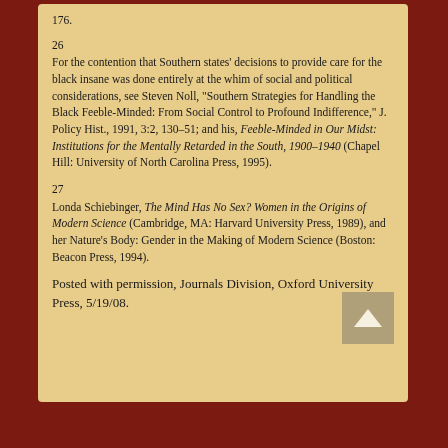176.
26
For the contention that Southern states' decisions to provide care for the black insane was done entirely at the whim of social and political considerations, see Steven Noll, "Southern Strategies for Handling the Black Feeble-Minded: From Social Control to Profound Indifference," J. Policy Hist., 1991, 3:2, 130–51; and his, Feeble-Minded in Our Midst: Institutions for the Mentally Retarded in the South, 1900–1940 (Chapel Hill: University of North Carolina Press, 1995).
27
Londa Schiebinger, The Mind Has No Sex? Women in the Origins of Modern Science (Cambridge, MA: Harvard University Press, 1989), and her Nature's Body: Gender in the Making of Modern Science (Boston: Beacon Press, 1994).
Posted with permission, Journals Division, Oxford University Press, 5/19/08.